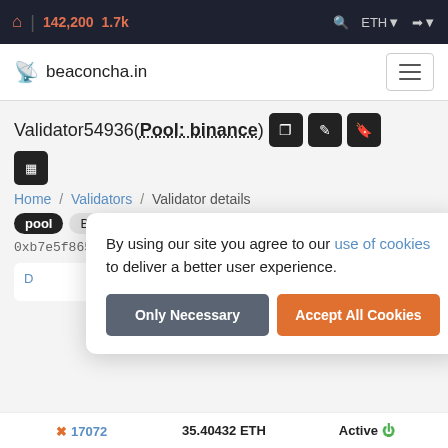🏠 | 142,200  1.7k   🔍  ETH  →
beaconcha.in
Validator54936(Pool: binance)
Home / Validators / Validator details
pool  Binance   pool  Binance
0xb7e5f865743c2e5d4117f3affd1820acf3a291...
By using our site you agree to our use of cookies to deliver a better user experience.
Only Necessary   Accept All Cookies
✖ 17072   35.40432 ETH   Active